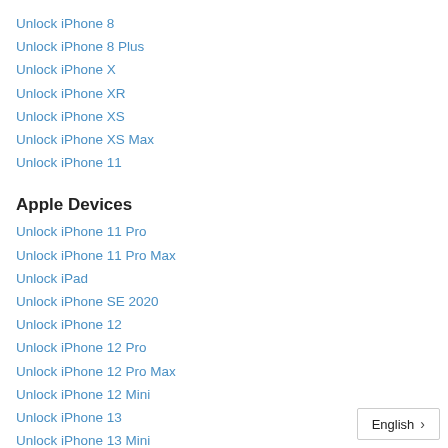Unlock iPhone 8
Unlock iPhone 8 Plus
Unlock iPhone X
Unlock iPhone XR
Unlock iPhone XS
Unlock iPhone XS Max
Unlock iPhone 11
Apple Devices
Unlock iPhone 11 Pro
Unlock iPhone 11 Pro Max
Unlock iPad
Unlock iPhone SE 2020
Unlock iPhone 12
Unlock iPhone 12 Pro
Unlock iPhone 12 Pro Max
Unlock iPhone 12 Mini
Unlock iPhone 13
Unlock iPhone 13 Mini
Unlock iPhone 13 Pro
Unlock iPhone 13 Pro Max
Unlock iPhone 14
Unlock iPhone 14 Pro
English >